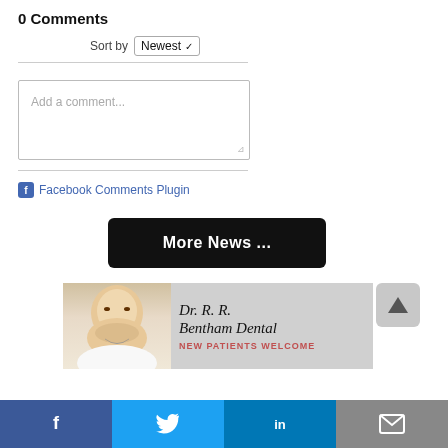0 Comments
Sort by Newest
Add a comment...
Facebook Comments Plugin
More News ...
[Figure (illustration): Advertisement banner for Dr. R. R. Bentham Dental showing a smiling man and text 'NEW PATIENTS WELCOME']
[Figure (other): Scroll-to-top button with upward arrow]
f  (Facebook share icon)
(Twitter share icon)
in (LinkedIn share icon)
(Email share icon)